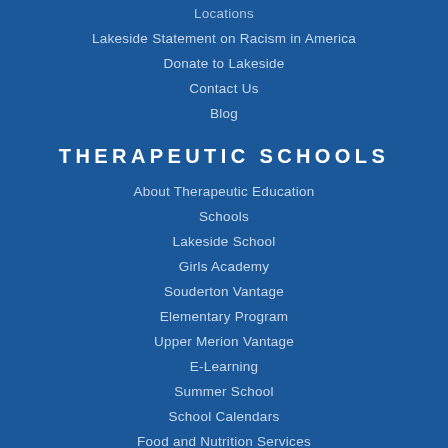Locations
Lakeside Statement on Racism in America
Donate to Lakeside
Contact Us
Blog
THERAPEUTIC SCHOOLS
About Therapeutic Education
Schools
Lakeside School
Girls Academy
Souderton Vantage
Elementary Program
Upper Merion Vantage
E-Learning
Summer School
School Calendars
Food and Nutrition Services
PowerSchool for Parents
Contact Us